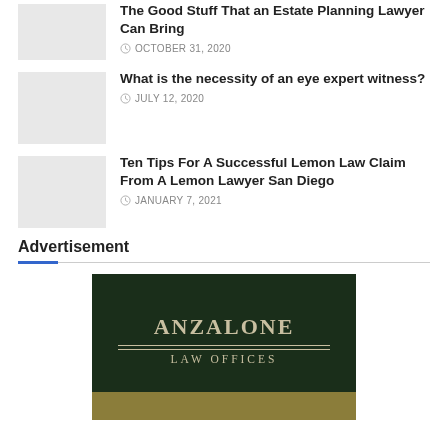The Good Stuff That an Estate Planning Lawyer Can Bring — OCTOBER 31, 2020
What is the necessity of an eye expert witness? — JULY 12, 2020
Ten Tips For A Successful Lemon Law Claim From A Lemon Lawyer San Diego — JANUARY 7, 2021
Advertisement
[Figure (logo): Anzalone Law Offices logo on dark green background with gold lower band]